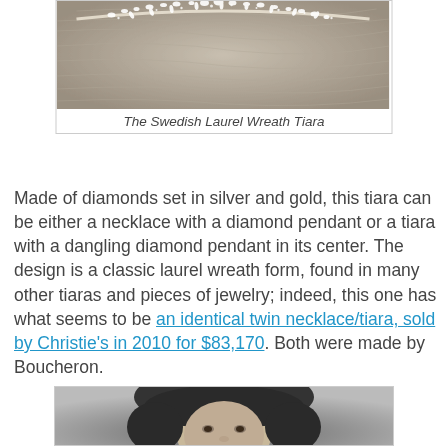[Figure (photo): Close-up photo of the Swedish Laurel Wreath Tiara showing diamonds set in silver forming a laurel wreath pattern on a person's hair]
The Swedish Laurel Wreath Tiara
Made of diamonds set in silver and gold, this tiara can be either a necklace with a diamond pendant or a tiara with a dangling diamond pendant in its center. The design is a classic laurel wreath form, found in many other tiaras and pieces of jewelry; indeed, this one has what seems to be an identical twin necklace/tiara, sold by Christie's in 2010 for $83,170. Both were made by Boucheron.
[Figure (photo): Black and white portrait photograph of a woman wearing the Swedish Laurel Wreath Tiara, shown from shoulders up, looking directly at the camera]